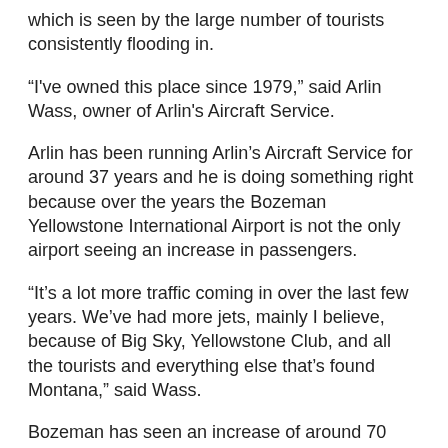which is seen by the large number of tourists consistently flooding in.
“I've owned this place since 1979,” said Arlin Wass, owner of Arlin's Aircraft Service.
Arlin has been running Arlin’s Aircraft Service for around 37 years and he is doing something right because over the years the Bozeman Yellowstone International Airport is not the only airport seeing an increase in passengers.
“It’s a lot more traffic coming in over the last few years. We’ve had more jets, mainly I believe, because of Big Sky, Yellowstone Club, and all the tourists and everything else that’s found Montana,” said Wass.
Bozeman has seen an increase of around 70 private flights this past year.
“We have got more flights than any other town in the state of Montana. We are ahead of Billings at this time,” said Wass.